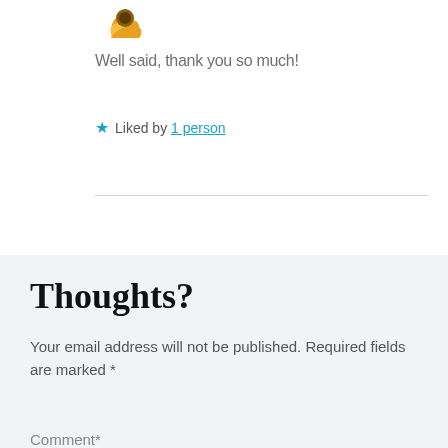[Figure (illustration): Partial flower/sunflower emoji or illustration at top left]
Well said, thank you so much!
★ Liked by 1 person
Thoughts?
Your email address will not be published. Required fields are marked *
Comment*